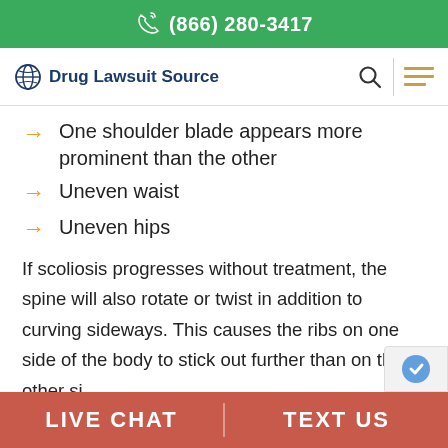(866) 280-3417
[Figure (logo): Drug Lawsuit Source logo with navigation icons]
One shoulder blade appears more prominent than the other
Uneven waist
Uneven hips
If scoliosis progresses without treatment, the spine will also rotate or twist in addition to curving sideways. This causes the ribs on one side of the body to stick out further than on the other si...
LIVE CHAT   TEXT US